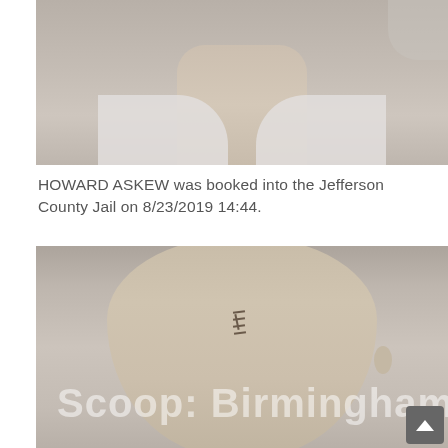[Figure (photo): Mugshot photo — upper portion showing neck and collar of a person, cropped below the face]
HOWARD ASKEW was booked into the Jefferson County Jail on 8/23/2019 14:44.
[Figure (photo): Mugshot photo — front-facing headshot of a middle-aged bald man with suture marks on forehead, watermarked 'Scoop: Birmingham']